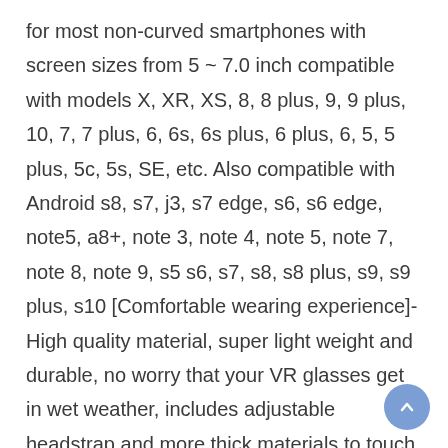for most non-curved smartphones with screen sizes from 5 ~ 7.0 inch compatible with models X, XR, XS, 8, 8 plus, 9, 9 plus, 10, 7, 7 plus, 6, 6s, 6s plus, 6 plus, 6, 5, 5 plus, 5c, 5s, SE, etc. Also compatible with Android s8, s7, j3, s7 edge, s6, s6 edge, note5, a8+, note 3, note 4, note 5, note 7, note 8, note 9, s5 s6, s7, s8, s8 plus, s9, s9 plus, s10 [Comfortable wearing experience]-High quality material, super light weight and durable, no worry that your VR glasses get in wet weather, includes adjustable headstrap and more thick materials to touch your face